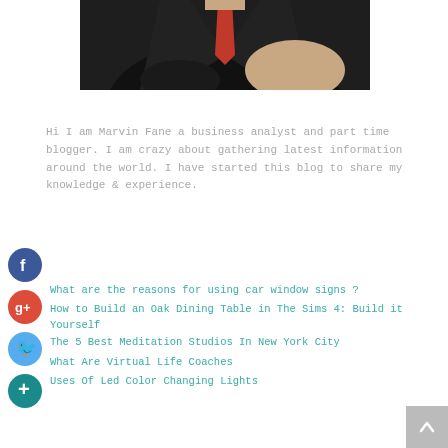[Figure (photo): Partial photo of a man in a black leather jacket with a red tie, arms crossed, photo cropped at top of page]
Hi I am Marvin Fane a business analyst and part time blogger. I am crazy about gathering latest information around the world. I have started this blog to share my knowledge & experience.
What are the reasons for using car window signs ?
How to Build an Oak Dining Table in The Sims 4: Build it Yourself
The 5 Best Meditation Studios In New York City
What Are Virtual Life Coaches
Uses Of Led Color Changing Lights